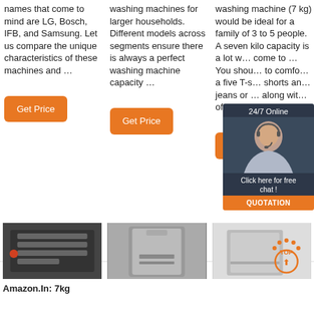names that come to mind are LG, Bosch, IFB, and Samsung. Let us compare the unique characteristics of these machines and …
washing machines for larger households. Different models across segments ensure there is always a perfect washing machine capacity …
washing machine (7 kg) would be ideal for a family of 3 to 5 people. A seven kilo capacity is a lot w… come to … You shou… to comfo… a five T-s… shorts an… jeans or … along wit… of …
[Figure (screenshot): 24/7 Online chat widget overlay with a woman wearing a headset, showing 'Click here for free chat!' and a QUOTATION button]
[Figure (photo): Interior of a washing machine drum showing mechanical parts]
[Figure (photo): Silver front-load washing machine]
[Figure (photo): Washing machine with a TOP logo overlay]
Amazon.In: 7kg